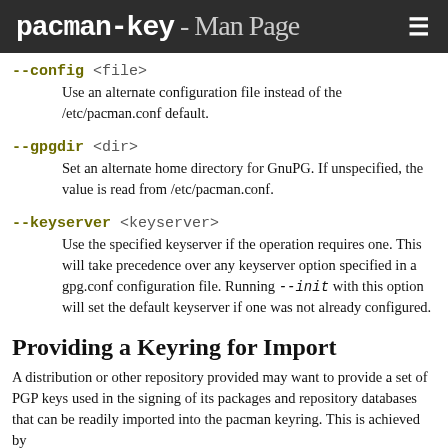pacman-key - Man Page
--config <file>
Use an alternate configuration file instead of the /etc/pacman.conf default.
--gpgdir <dir>
Set an alternate home directory for GnuPG. If unspecified, the value is read from /etc/pacman.conf.
--keyserver <keyserver>
Use the specified keyserver if the operation requires one. This will take precedence over any keyserver option specified in a gpg.conf configuration file. Running --init with this option will set the default keyserver if one was not already configured.
Providing a Keyring for Import
A distribution or other repository provided may want to provide a set of PGP keys used in the signing of its packages and repository databases that can be readily imported into the pacman keyring. This is achieved by...